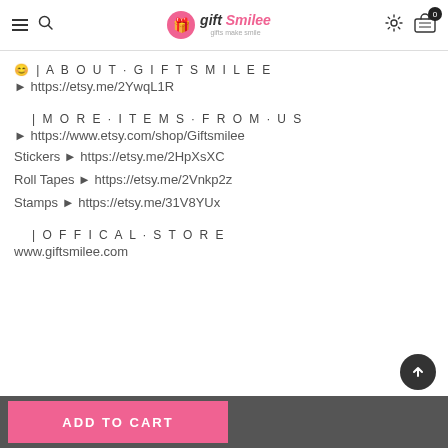gift Smilee — navigation header with hamburger, search, logo, settings, cart (0)
😊 | ABOUT·GIFTSMILEE
► https://etsy.me/2YwqL1R
| MORE·ITEMS·FROM·US
► https://www.etsy.com/shop/Giftsmilee
Stickers ► https://etsy.me/2HpXsXC
Roll Tapes ► https://etsy.me/2Vnkp2z
Stamps ► https://etsy.me/31V8YUx
| OFFICAL·STORE
www.giftsmilee.com
ADD TO CART